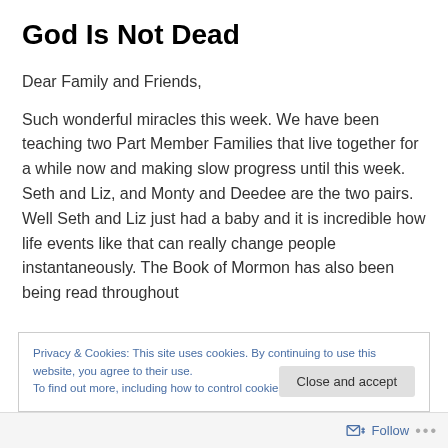God Is Not Dead
Dear Family and Friends,
Such wonderful miracles this week. We have been teaching two Part Member Families that live together for a while now and making slow progress until this week. Seth and Liz, and Monty and Deedee are the two pairs. Well Seth and Liz just had a baby and it is incredible how life events like that can really change people instantaneously. The Book of Mormon has also been being read throughout
Privacy & Cookies: This site uses cookies. By continuing to use this website, you agree to their use.
To find out more, including how to control cookies, see here: Cookie Policy
Follow